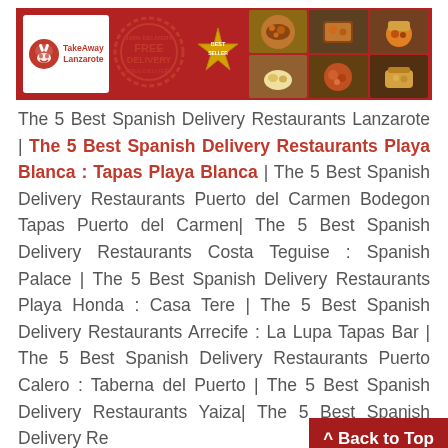[Figure (photo): TakeAway Lanzarote banner with logo, FREE DELIVERY stamp, BEST SELLER badge, and food photos on red background]
The 5 Best Spanish Delivery Restaurants Lanzarote | The 5 Best Spanish Delivery Restaurants Playa Blanca : Tapas Playa Blanca | The 5 Best Spanish Delivery Restaurants Puerto del Carmen Bodegon Tapas Puerto del Carmen| The 5 Best Spanish Delivery Restaurants Costa Teguise : Spanish Palace | The 5 Best Spanish Delivery Restaurants Playa Honda : Casa Tere | The 5 Best Spanish Delivery Restaurants Arrecife : La Lupa Tapas Bar | The 5 Best Spanish Delivery Restaurants Puerto Calero : Taberna del Puerto | The 5 Best Spanish Delivery Restaurants Yaiza| The 5 Best Spanish Delivery Re... Spanish Delivery Restaurants ...